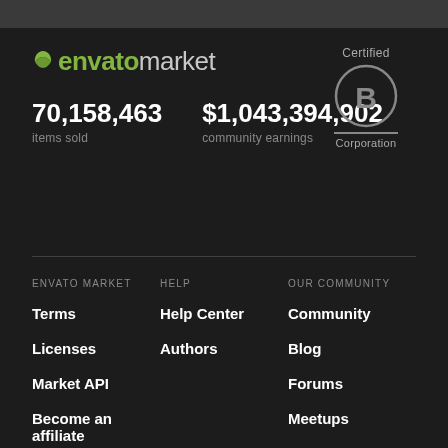[Figure (logo): Envato Market logo with green leaf icon, 'envato' in green bold and 'market' in gray, alongside Certified B Corporation badge]
70,158,463 items sold
$1,043,394,902 community earnings
ENVATO MARKET
HELP
OUR COMMUNITY
Terms
Help Center
Community
Licenses
Authors
Blog
Market API
Forums
Become an affiliate
Meetups